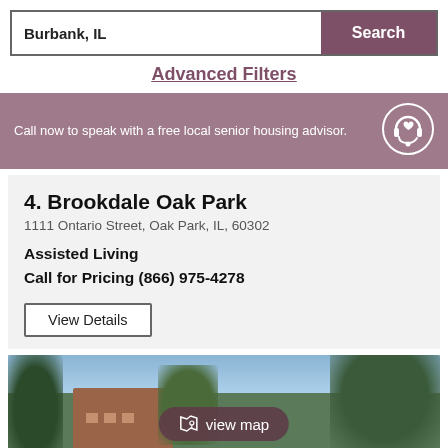Burbank, IL
Search
Advanced Filters
Call now to speak with a free local senior housing advisor.
4. Brookdale Oak Park
1111 Ontario Street, Oak Park, IL, 60302
Assisted Living
Call for Pricing (866) 975-4278
View Details
[Figure (photo): Exterior photo of a building surrounded by trees, with a 'view map' overlay button]
view map